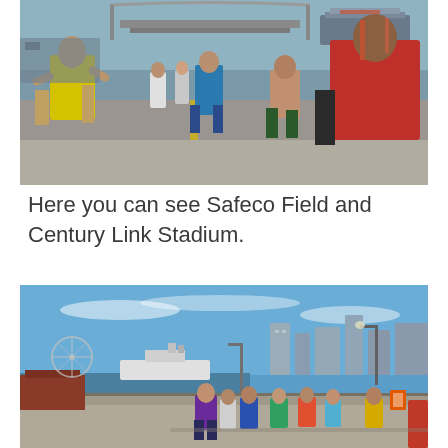[Figure (photo): Marathon runners on an overpass road with Safeco Field and CenturyLink Stadium visible in the background in Seattle. Runners include one in a yellow tank top and one in a red shirt on the right.]
Here you can see Safeco Field and Century Link Stadium.
[Figure (photo): Marathon runners along the Seattle waterfront with a cruise ship and the city skyline visible in the background under a clear blue sky.]